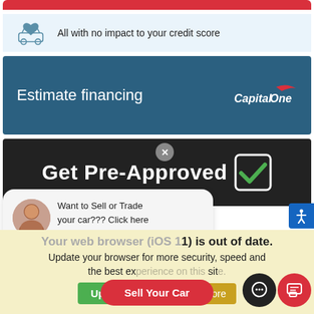[Figure (screenshot): Red button bar at top of page (partially visible)]
All with no impact to your credit score
Estimate financing
[Figure (logo): Capital One logo with red swoosh]
[Figure (screenshot): Get Pre-Approved banner with green checkbox icon and close button]
Want to Sell or Trade your car??? Click here to speak with one of our LIVE agents NOW!
Enter your message
Your web browser (iOS 11) is out of date. Update your browser for more security, speed and the best experience on this site.
Update browser
Ignore
Sell Your Car